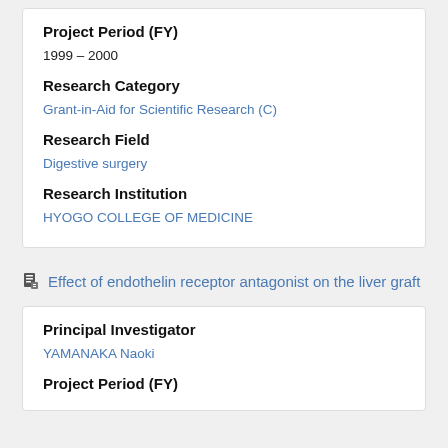Project Period (FY)
1999 – 2000
Research Category
Grant-in-Aid for Scientific Research (C)
Research Field
Digestive surgery
Research Institution
HYOGO COLLEGE OF MEDICINE
Effect of endothelin receptor antagonist on the liver graft
Principal Investigator
YAMANAKA Naoki
Project Period (FY)
1998 – 1999